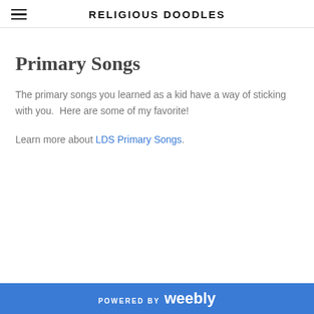RELIGIOUS DOODLES
Primary Songs
The primary songs you learned as a kid have a way of sticking with you.  Here are some of my favorite!
Learn more about LDS Primary Songs.
POWERED BY weebly